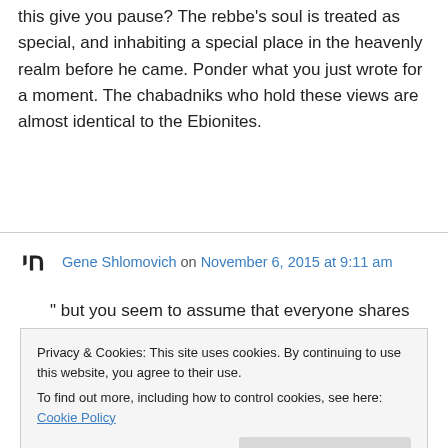this give you pause? The rebbe's soul is treated as special, and inhabiting a special place in the heavenly realm before he came. Ponder what you just wrote for a moment. The chabadniks who hold these views are almost identical to the Ebionites.
Gene Shlomovich on November 6, 2015 at 9:11 am
" but you seem to assume that everyone shares
Privacy & Cookies: This site uses cookies. By continuing to use this website, you agree to their use.
To find out more, including how to control cookies, see here: Cookie Policy
may define it, it's irrelevant for the purposes of